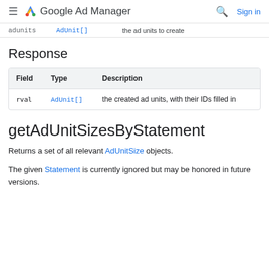Google Ad Manager — Sign in
| adunits | AdUnit[] | the ad units to create |
| --- | --- | --- |
Response
| Field | Type | Description |
| --- | --- | --- |
| rval | AdUnit[] | the created ad units, with their IDs filled in |
getAdUnitSizesByStatement
Returns a set of all relevant AdUnitSize objects.
The given Statement is currently ignored but may be honored in future versions.